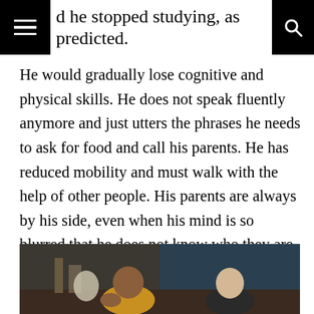d he stopped studying, as predicted.
He would gradually lose cognitive and physical skills. He does not speak fluently anymore and just utters the phrases he needs to ask for food and call his parents. He has reduced mobility and must walk with the help of other people. His parents are always by his side, even when his mind is so blurred that he does not know who they are.
[Figure (photo): Two people seated at a table in a dimly lit room; a middle-aged man in a yellow shirt on the left and a younger man on the right.]